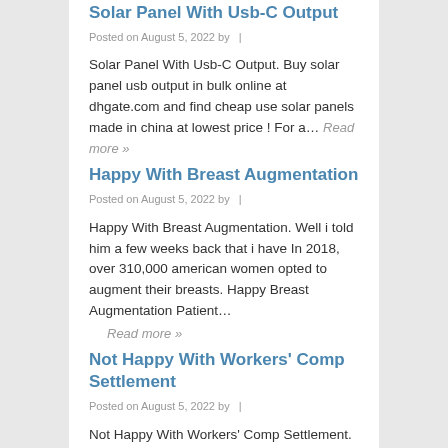Solar Panel With Usb-C Output
Posted on August 5, 2022 by  |
Solar Panel With Usb-C Output. Buy solar panel usb output in bulk online at dhgate.com and find cheap use solar panels made in china at lowest price ! For a… Read more »
Happy With Breast Augmentation
Posted on August 5, 2022 by  |
Happy With Breast Augmentation. Well i told him a few weeks back that i have In 2018, over 310,000 american women opted to augment their breasts. Happy Breast Augmentation Patient…
Read more »
Not Happy With Workers' Comp Settlement
Posted on August 5, 2022 by  |
Not Happy With Workers' Comp Settlement. 7031 koll center pkwy, pleasanton, ca 94566. However, if your employee doesn't. Houston tech employees not happy with worklife balance from